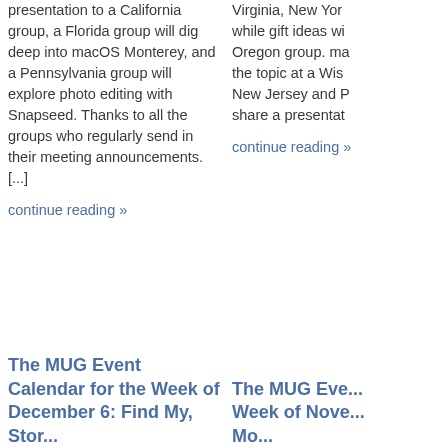presentation to a California group, a Florida group will dig deep into macOS Monterey, and a Pennsylvania group will explore photo editing with Snapseed. Thanks to all the groups who regularly send in their meeting announcements. [...]
continue reading »
Virginia, New Yor... while gift ideas wi... Oregon group. ma... the topic at a Wis... New Jersey and P... share a presenta...
continue reading »
The MUG Event Calendar for the Week of December 6: Find My, Stor...
The MUG Eve... Week of Nove... Mo...